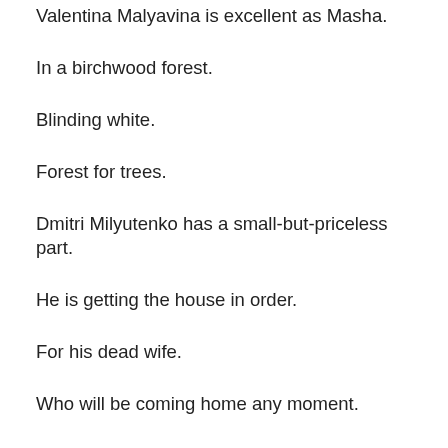Valentina Malyavina is excellent as Masha.
In a birchwood forest.
Blinding white.
Forest for trees.
Dmitri Milyutenko has a small-but-priceless part.
He is getting the house in order.
For his dead wife.
Who will be coming home any moment.
And he locks the gate.
Even though there is no fence.
Tarkovsky's wife Irma Raush does a nice job here.